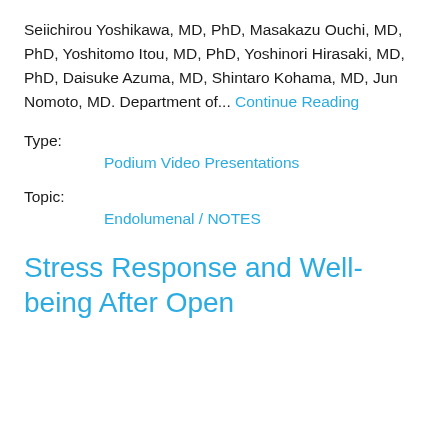Seiichirou Yoshikawa, MD, PhD, Masakazu Ouchi, MD, PhD, Yoshitomo Itou, MD, PhD, Yoshinori Hirasaki, MD, PhD, Daisuke Azuma, MD, Shintaro Kohama, MD, Jun Nomoto, MD. Department of... Continue Reading
Type:
Podium Video Presentations
Topic:
Endolumenal / NOTES
Stress Response and Well-being After Open